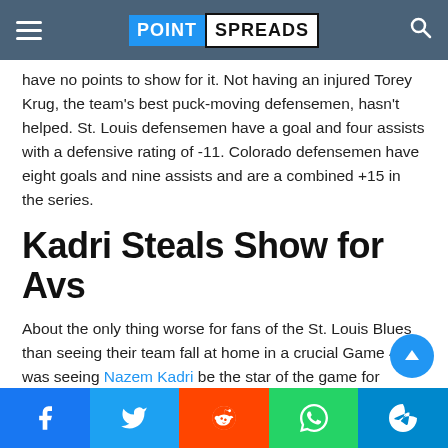POINT SPREADS
have no points to show for it. Not having an injured Torey Krug, the team's best puck-moving defensemen, hasn't helped. St. Louis defensemen have a goal and four assists with a defensive rating of -11. Colorado defensemen have eight goals and nine assists and are a combined +15 in the series.
Kadri Steals Show for Avs
About the only thing worse for fans of the St. Louis Blues than seeing their team fall at home in a crucial Game 4 was seeing Nazem Kadri be the star of the game for Colorado. The red-hot Kadri will be front and center in the Blues vs Avalanche game preview.